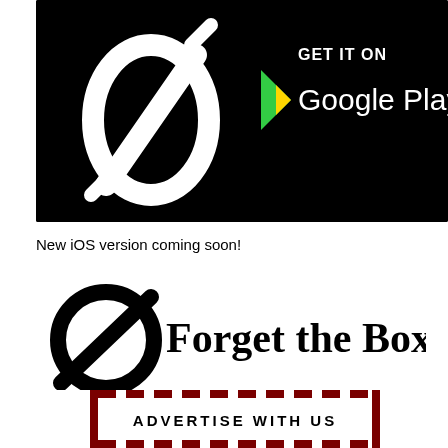[Figure (screenshot): Black banner with app logo (slashed zero icon in white) on the left and Google Play store badge on the right reading GET IT ON Google Play]
New iOS version coming soon!
[Figure (logo): Forget the Box logo: a slashed zero symbol in black followed by bold serif text 'Forget the Box']
[Figure (infographic): Dark red dashed border rectangle with text 'ADVERTISE WITH US' centered inside]